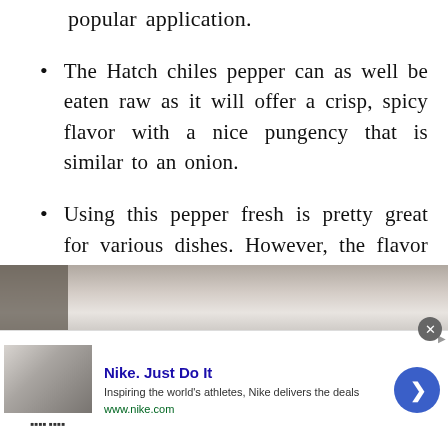popular application.
The Hatch chiles pepper can as well be eaten raw as it will offer a crisp, spicy flavor with a nice pungency that is similar to an onion.
Using this pepper fresh is pretty great for various dishes. However, the flavor of this pepper tends to radiate when they are roasted.
[Figure (photo): Partial photo of a person, cropped at bottom of content area]
[Figure (screenshot): Nike advertisement banner with thumbnail, Nike Just Do It tagline, description, URL www.nike.com, and a blue circular CTA arrow button]